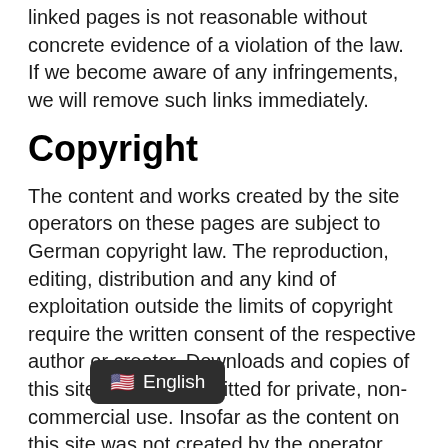linked pages is not reasonable without concrete evidence of a violation of the law. If we become aware of any infringements, we will remove such links immediately.
Copyright
The content and works created by the site operators on these pages are subject to German copyright law. The reproduction, editing, distribution and any kind of exploitation outside the limits of copyright require the written consent of the respective author or creator. Downloads and copies of this site are only permitted for private, non-commercial use. Insofar as the content on this site was not created by the operator, the copyrights of third parties are respected. In particular, third-party content is identified as such. Should you nevertheless become aware of a copyright infringement, please inform us accordingly. If we become aware of any